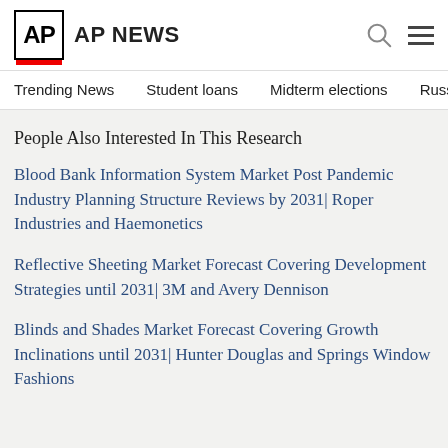AP NEWS
Trending News
Student loans
Midterm elections
Russia-Ukr
People Also Interested In This Research
Blood Bank Information System Market Post Pandemic Industry Planning Structure Reviews by 2031| Roper Industries and Haemonetics
Reflective Sheeting Market Forecast Covering Development Strategies until 2031| 3M and Avery Dennison
Blinds and Shades Market Forecast Covering Growth Inclinations until 2031| Hunter Douglas and Springs Window Fashions